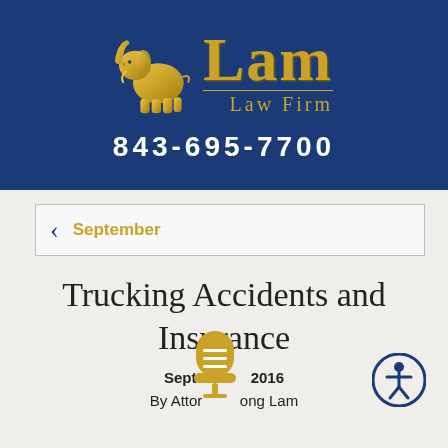[Figure (logo): Lam Law Firm logo: golden elephant silhouette and stylized 'Lam Law Firm' text in gold on dark navy blue background, with phone number 843-695-7700 in white.]
September
Trucking Accidents and Insurance
September 2016
By Attorney Hong Lam